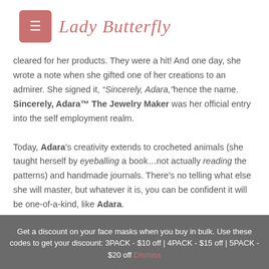Lady Butterfly
cleared for her products. They were a hit! And one day, she wrote a note when she gifted one of her creations to an admirer. She signed it, “Sincerely, Adara,” hence the name. Sincerely, Adara™ The Jewelry Maker was her official entry into the self employment realm.

Today, Adara’s creativity extends to crocheted animals (she taught herself by eyeballing a book…not actually reading the patterns) and handmade journals. There’s no telling what else she will master, but whatever it is, you can be confident it will be one-of-a-kind, like Adara.
| DEFAULT SORTING | 12 |
| --- | --- |
Get a discount on your face masks when you buy in bulk. Use these codes to get your discount: 3PACK - $10 off | 4PACK - $15 off | 5PACK - $20 off  Dismiss